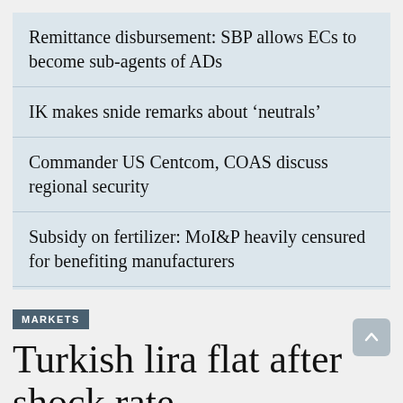Remittance disbursement: SBP allows ECs to become sub-agents of ADs
IK makes snide remarks about ‘neutrals’
Commander US Centcom, COAS discuss regional security
Subsidy on fertilizer: MoI&P heavily censured for benefiting manufacturers
GST on IT services: FBR urged to remove ‘legal’ anomaly in Finance Act
READ MORE STORIES
MARKETS
Turkish lira flat after shock rate